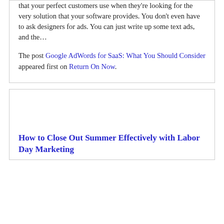that your perfect customers use when they're looking for the very solution that your software provides. You don't even have to ask designers for ads. You can just write up some text ads, and the…
The post Google AdWords for SaaS: What You Should Consider appeared first on Return On Now.
How to Close Out Summer Effectively with Labor Day Marketing